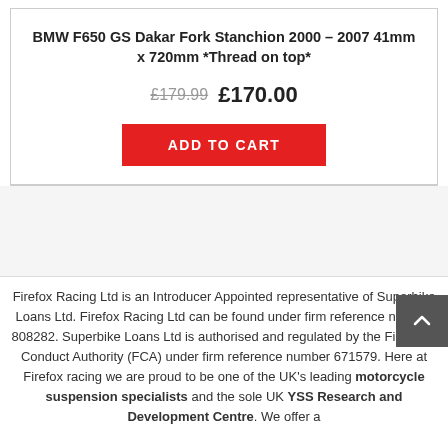BMW F650 GS Dakar Fork Stanchion 2000 – 2007 41mm x 720mm *Thread on top*
£179.99  £170.00
ADD TO CART
Firefox Racing Ltd is an Introducer Appointed representative of Superbike Loans Ltd. Firefox Racing Ltd can be found under firm reference number 808282. Superbike Loans Ltd is authorised and regulated by the Financial Conduct Authority (FCA) under firm reference number 671579. Here at Firefox racing we are proud to be one of the UK's leading motorcycle suspension specialists and the sole UK YSS Research and Development Centre. We offer a